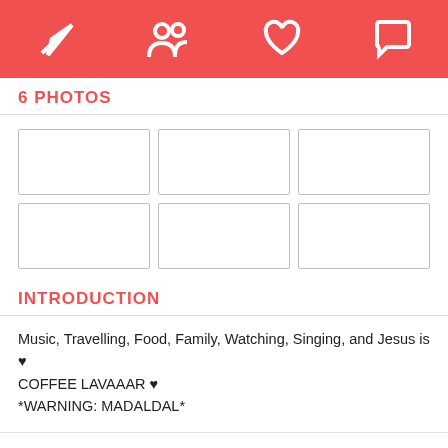[Figure (screenshot): App navigation header bar with four white icons on red background: paper plane (send), people (friends), heart (likes), speech bubble (messages)]
6 PHOTOS
[Figure (other): Grid of 6 empty photo placeholder boxes arranged in 2 rows and 3 columns]
INTRODUCTION
Music, Travelling, Food, Family, Watching, Singing, and Jesus is ♥ COFFEE LAVAAAR ♥ *WARNING: MADALDAL*
ABOUT